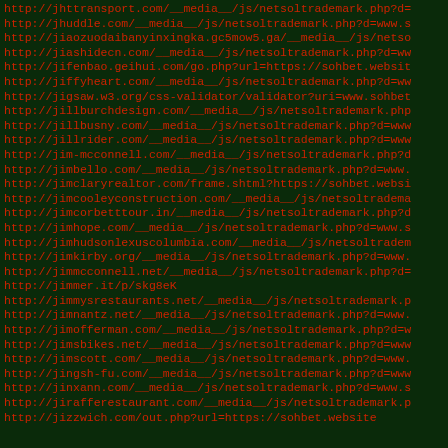http://jhttransport.com/__media__/js/netsoltrademark.php?d=
http://jhuddle.com/__media__/js/netsoltrademark.php?d=www.s
http://jiaozuodaibanyinxingka.gc5mow5.ga/__media__/js/netso
http://jiashidecn.com/__media__/js/netsoltrademark.php?d=ww
http://jifenbao.geihui.com/go.php?url=https://sohbet.websit
http://jiffyheart.com/__media__/js/netsoltrademark.php?d=ww
http://jigsaw.w3.org/css-validator/validator?uri=www.sohbet
http://jillburchdesign.com/__media__/js/netsoltrademark.php
http://jillbusny.com/__media__/js/netsoltrademark.php?d=www
http://jillrider.com/__media__/js/netsoltrademark.php?d=www
http://jim-mcconnell.com/__media__/js/netsoltrademark.php?d
http://jimbello.com/__media__/js/netsoltrademark.php?d=www.
http://jimclaryrealtor.com/frame.shtml?https://sohbet.websi
http://jimcooleyconstruction.com/__media__/js/netsoltradema
http://jimcorbetttour.in/__media__/js/netsoltrademark.php?d
http://jimhope.com/__media__/js/netsoltrademark.php?d=www.s
http://jimhudsonlexuscolumbia.com/__media__/js/netsoltradem
http://jimkirby.org/__media__/js/netsoltrademark.php?d=www.
http://jimmcconnell.net/__media__/js/netsoltrademark.php?d=
http://jimmer.it/p/skg8eK
http://jimmysrestaurants.net/__media__/js/netsoltrademark.p
http://jimnantz.net/__media__/js/netsoltrademark.php?d=www.
http://jimofferman.com/__media__/js/netsoltrademark.php?d=w
http://jimsbikes.net/__media__/js/netsoltrademark.php?d=www
http://jimscott.com/__media__/js/netsoltrademark.php?d=www.
http://jingsh-fu.com/__media__/js/netsoltrademark.php?d=www
http://jinxann.com/__media__/js/netsoltrademark.php?d=www.s
http://jirafferestaurant.com/__media__/js/netsoltrademark.p
http://jizzwich.com/out.php?url=https://sohbet.website